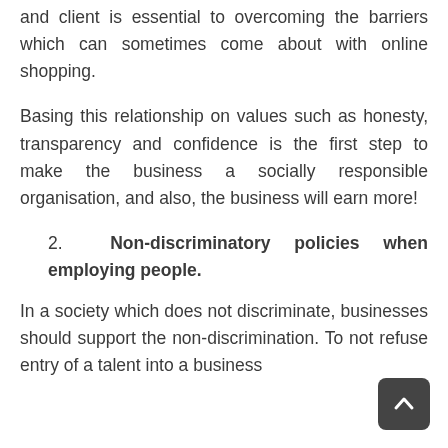and client is essential to overcoming the barriers which can sometimes come about with online shopping.
Basing this relationship on values such as honesty, transparency and confidence is the first step to make the business a socially responsible organisation, and also, the business will earn more!
2. Non-discriminatory policies when employing people.
In a society which does not discriminate, businesses should support the non-discrimination. To not refuse entry of a talent into a business